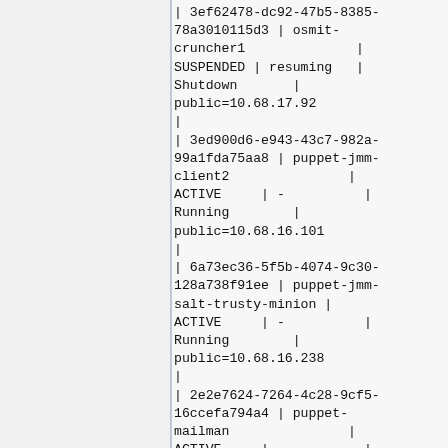| 3ef62478-dc92-47b5-8385-78a3010115d3 | osmit-cruncher1              | SUSPENDED | resuming   | Shutdown       | public=10.68.17.92
|
| 3ed900d6-e943-43c7-982a-99a1fda75aa8 | puppet-jmm-client2           | ACTIVE    | -          | Running        | public=10.68.16.101
|
| 6a73ec36-5f5b-4074-9c30-128a738f91ee | puppet-jmm-salt-trusty-minion | ACTIVE   | -          | Running        | public=10.68.16.238
|
| 2e2e7624-7264-4c28-9cf5-16ccefa794a4 | puppet-mailman               | ACTIVE    | -          |